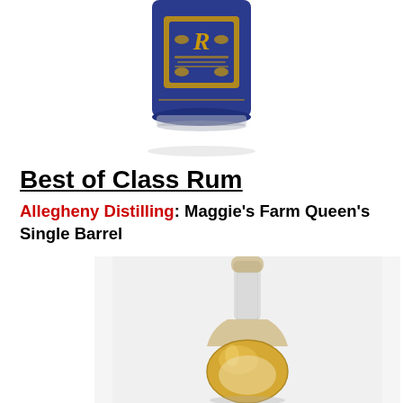[Figure (photo): Bottom portion of a blue glass spirits bottle with gold ornamental label design, partially visible, on white background]
Best of Class Rum
Allegheny Distilling: Maggie's Farm Queen's Single Barrel
[Figure (photo): Small round amber-colored rum bottle with a clear long neck and cork stopper, containing golden liquid, on a light gray background]